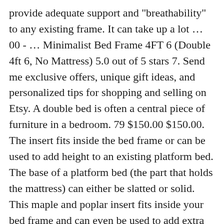provide adequate support and "breathability" to any existing frame. It can take up a lot … 00 - … Minimalist Bed Frame 4FT 6 (Double 4ft 6, No Mattress) 5.0 out of 5 stars 7. Send me exclusive offers, unique gift ideas, and personalized tips for shopping and selling on Etsy. A double bed is often a central piece of furniture in a bedroom. 79 $150.00 $150.00. The insert fits inside the bed frame or can be used to add height to an existing platform bed. The base of a platform bed (the part that holds the mattress) can either be slatted or solid. This maple and poplar insert fits inside your bed frame and can even be used to add extra height to an existing platform bed. Slats are 3 inches wide and spaced 2.5 inches apart. Platform beds generally provide a more sleek and modern appeal, sit lower to the ground, while also offering great support for your mattress. 4.4 out of 5 stars with 22 reviews. Cosybay Twin Comforter Chocolate, Down Alternative Bed Comforter, Lightweight Duvet Insert with Corner Tabs(64×88 Inch) 4.7 out of 5 stars 2,979. Don't expect anything